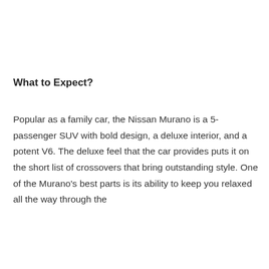What to Expect?
Popular as a family car, the Nissan Murano is a 5-passenger SUV with bold design, a deluxe interior, and a potent V6. The deluxe feel that the car provides puts it on the short list of crossovers that bring outstanding style. One of the Murano’s best parts is its ability to keep you relaxed all the way through the